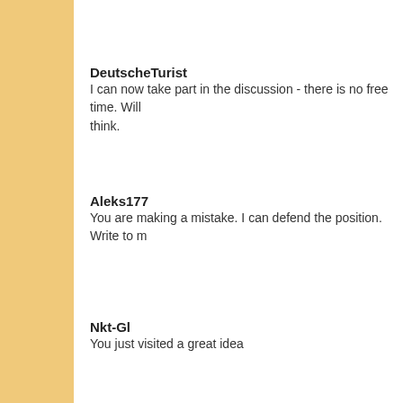DeutscheTurist
I can now take part in the discussion - there is no free time. Will be free - will necessarily express what I think.
Aleks177
You are making a mistake. I can defend the position. Write to m
Nkt-Gl
You just visited a great idea
Home